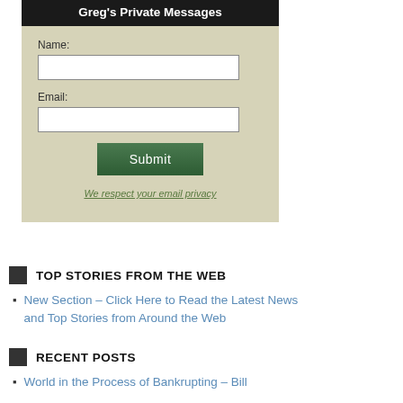Greg's Private Messages
Name:
Email:
Submit
We respect your email privacy
TOP STORIES FROM THE WEB
New Section – Click Here to Read the Latest News and Top Stories from Around the Web
RECENT POSTS
World in the Process of Bankrupting – Bill